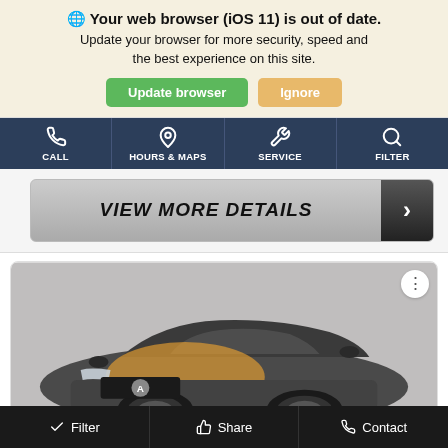🌐 Your web browser (iOS 11) is out of date. Update your browser for more security, speed and the best experience on this site.
Update browser | Ignore
CALL | HOURS & MAPS | SERVICE | FILTER
VIEW MORE DETAILS >
[Figure (photo): Photo of a dark gray Acura MDX SUV, front three-quarter view, with a yellow/orange sun glare on the hood]
Filter | Share | Contact